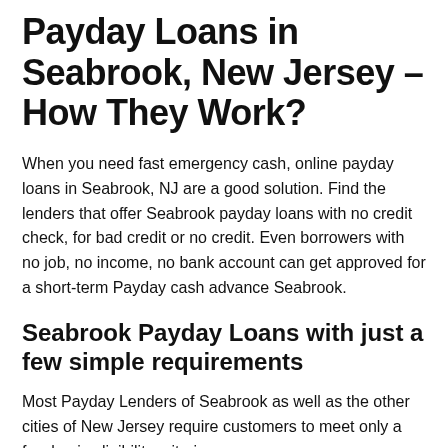Payday Loans in Seabrook, New Jersey – How They Work?
When you need fast emergency cash, online payday loans in Seabrook, NJ are a good solution. Find the lenders that offer Seabrook payday loans with no credit check, for bad credit or no credit. Even borrowers with no job, no income, no bank account can get approved for a short-term Payday cash advance Seabrook.
Seabrook Payday Loans with just a few simple requirements
Most Payday Lenders of Seabrook as well as the other cities of New Jersey require customers to meet only a few basic eligibility criteria: